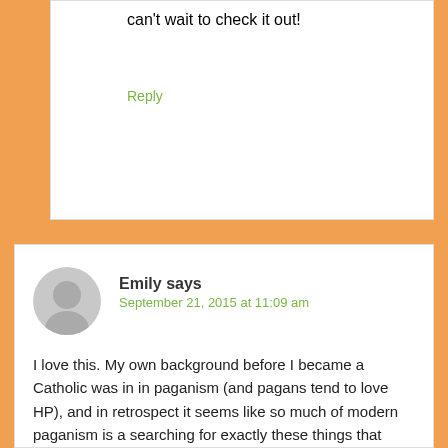can't wait to check it out!
Reply
Emily says
September 21, 2015 at 11:09 am
I love this. My own background before I became a Catholic was in in paganism (and pagans tend to love HP), and in retrospect it seems like so much of modern paganism is a searching for exactly these things that have gotten lost: connection to our ancestors, the return of tradition, the tangible in the sacred. The neopagan liturgical year in some borrows heavily from the earlier agriculture-